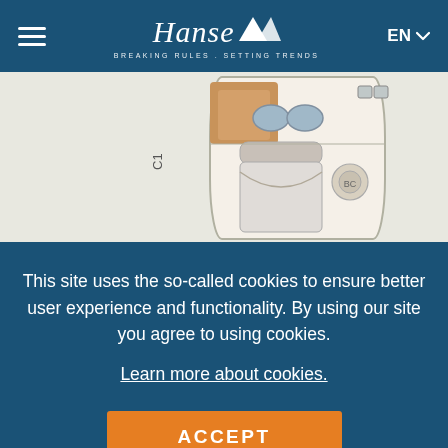Hanse — BREAKING RULES . SETTING TRENDS — EN
[Figure (engineering-diagram): Partial boat cabin floor plan viewed from above, showing sleeping quarters with two small seats/portholes, a bed with headboard, and label 'C1' on the left side, on a light beige background.]
This site uses the so-called cookies to ensure better user experience and functionality. By using our site you agree to using cookies.
Learn more about cookies.
ACCEPT